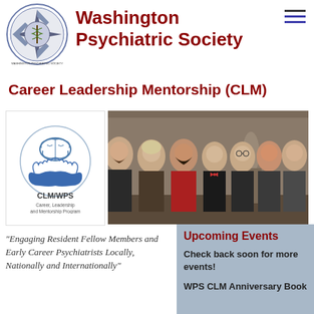[Figure (logo): Washington Psychiatric Society circular seal/logo with a compass star and medical caduceus symbol]
Washington Psychiatric Society
[Figure (other): Hamburger menu icon with three horizontal lines]
Career Leadership Mentorship (CLM)
[Figure (logo): CLM/WPS Career, Leadership and Mentorship Program logo with brain and hands graphic in blue circle]
[Figure (photo): Group photo of six people (five women and one man in a tuxedo and one man in a suit) at a social event]
"Engaging Resident Fellow Members and Early Career Psychiatrists Locally, Nationally and Internationally"
Upcoming Events
Check back soon for more events!
WPS CLM Anniversary Book